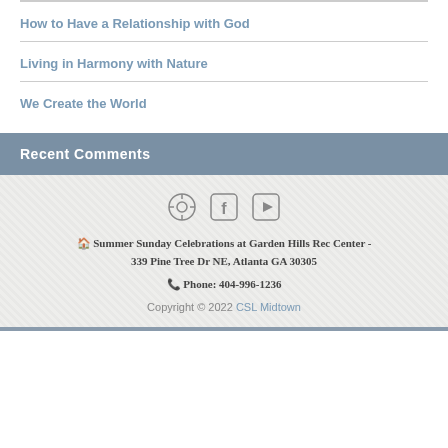How to Have a Relationship with God
Living in Harmony with Nature
We Create the World
Recent Comments
Summer Sunday Celebrations at Garden Hills Rec Center - 339 Pine Tree Dr NE, Atlanta GA 30305
Phone: 404-996-1236
Copyright © 2022 CSL Midtown